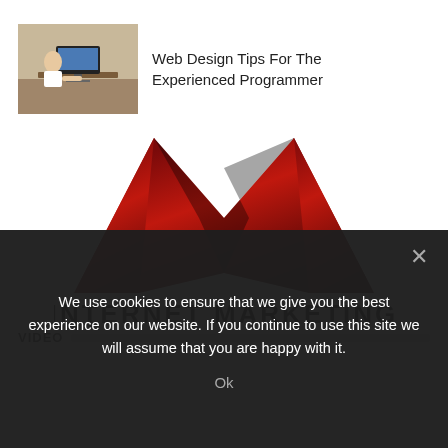[Figure (screenshot): Thumbnail image of person working at computer, used as article thumbnail]
Web Design Tips For The Experienced Programmer
[Figure (logo): Internet Marketing logo: stylized M shape in dark red/crimson gradient with text INTERNET MARKETING below]
VIDEO
We use cookies to ensure that we give you the best experience on our website. If you continue to use this site we will assume that you are happy with it.
Ok